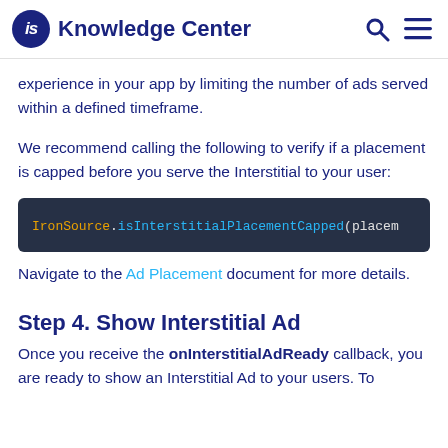IS Knowledge Center
experience in your app by limiting the number of ads served within a defined timeframe.
We recommend calling the following to verify if a placement is capped before you serve the Interstitial to your user:
[Figure (screenshot): Code block showing: IronSource.isInterstitialPlacementCapped(placem]
Navigate to the Ad Placement document for more details.
Step 4. Show Interstitial Ad
Once you receive the onInterstitialAdReady callback, you are ready to show an Interstitial Ad to your users. To